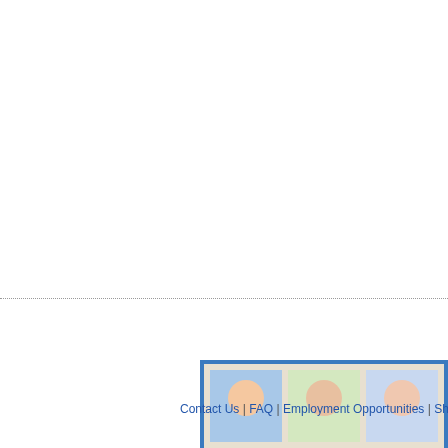song begins with a fra... blushing ambience be... synths to walk hand-i... Susman (of Electrel... saxophone, helping th... the ground running w... mercurial as the gift o...
Other releases on UPSET TH...
[Figure (photo): Album cover showing a grid of illustrated portrait faces on colored backgrounds]
[Figure (photo): Album cover for Buffet Lunch with colorful folk art style illustrations]
[Figure (photo): Partial album cover showing text PEGA MONSTRO ALFARROBA on green background]
Other releases by BAM...
[Figure (photo): Bamboo album cover with blue arch and figure in blue]
[Figure (photo): Album cover showing illustrated blue wolf/fox face on pink background]
[Figure (photo): Bamboo album cover with blue arch and figure in blue (partial)]
Contact Us | FAQ | Employment Opportunities | Shipping Info | P...
This Site © 1995-2022 Forced...